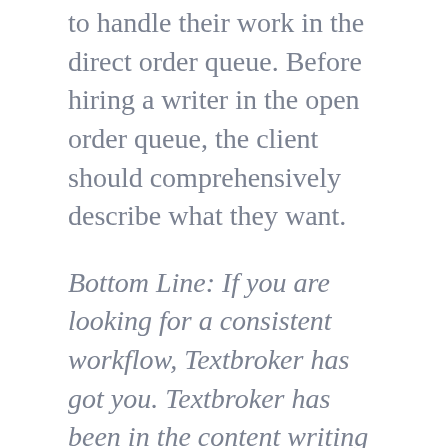to handle their work in the direct order queue. Before hiring a writer in the open order queue, the client should comprehensively describe what they want.
Bottom Line: If you are looking for a consistent workflow, Textbroker has got you. Textbroker has been in the content writing business for a long time, attracting many clients. Crowd Content is equally good if you have higher star ratings (about 3). However, clients control the ratings; therefore, you have